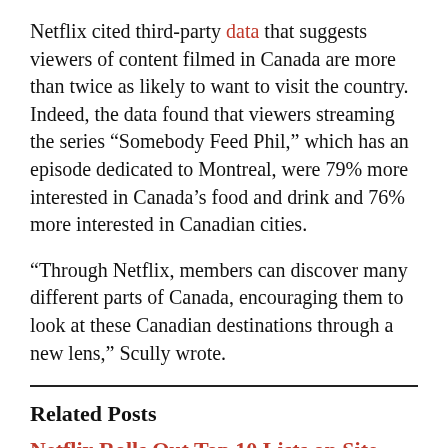Netflix cited third-party data that suggests viewers of content filmed in Canada are more than twice as likely to want to visit the country. Indeed, the data found that viewers streaming the series “Somebody Feed Phil,” which has an episode dedicated to Montreal, were 79% more interested in Canada’s food and drink and 76% more interested in Canadian cities.
“Through Netflix, members can discover many different parts of Canada, encouraging them to look at these Canadian destinations through a new lens,” Scully wrote.
Related Posts
Netflix Rolls Out Top 10 Lists on Site
Netflix Feb. 24 rolled out top 10 designations on its site. "In addition to the overall top 10 list, you'll also